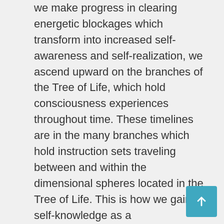we make progress in clearing energetic blockages which transform into increased self-awareness and self-realization, we ascend upward on the branches of the Tree of Life, which hold consciousness experiences throughout time. These timelines are in the many branches which hold instruction sets traveling between and within the dimensional spheres located in the Tree of Life. This is how we gain self-knowledge as a multidimensional and spiritual being, we travel through the spheres of time held in the holographic layers of the Tree of Life.

It is this spiritual journey of gaining self-knowledge traveling through the Tree of Life, which is used to persecute and terrorize the human race through spiritual dimensions. This False King of